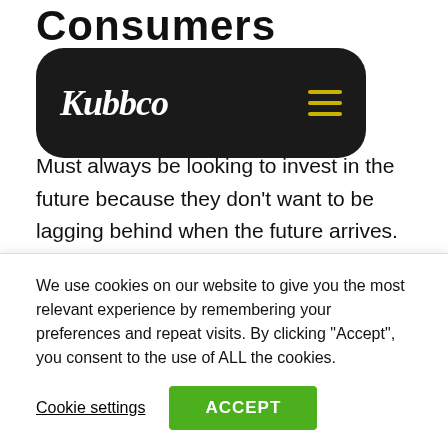Consumers
[Figure (logo): Kubbco logo with hamburger menu on dark rounded rectangle nav bar]
Must always be looking to invest in the future because they don't want to be lagging behind when the future arrives. Your essential marketing demographic of Millennials and Gen Zs are also the demographic that will be the first to adopt the technology for accessing the metaverse. If you want to keep them interested in your brand, you must shift your marketing strategies to include those same technologies in your current marketing channels.
We use cookies on our website to give you the most relevant experience by remembering your preferences and repeat visits. By clicking "Accept", you consent to the use of ALL the cookies.
Cookie settings   ACCEPT